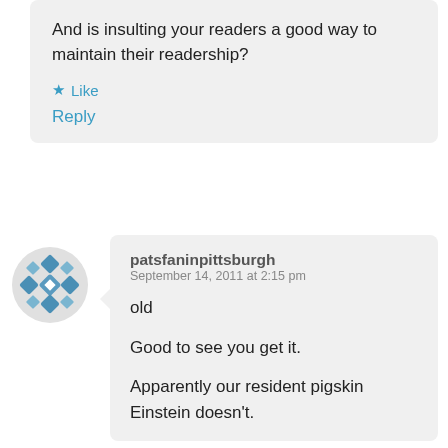And is insulting your readers a good way to maintain their readership?
Like
Reply
[Figure (illustration): Avatar image for patsfaninpittsburgh — a circular geometric/mosaic pattern in blue and white]
patsfaninpittsburgh
September 14, 2011 at 2:15 pm

old

Good to see you get it.

Apparently our resident pigskin Einstein doesn't.

I guess he can only...